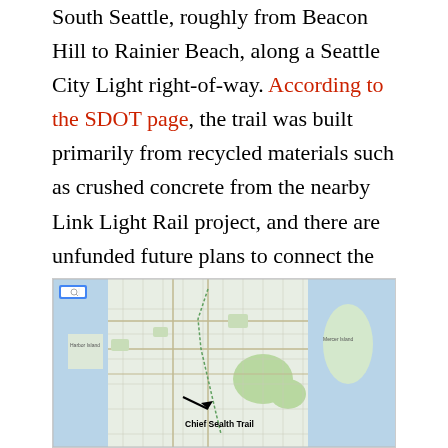South Seattle, roughly from Beacon Hill to Rainier Beach, along a Seattle City Light right-of-way. According to the SDOT page, the trail was built primarily from recycled materials such as crushed concrete from the nearby Link Light Rail project, and there are unfunded future plans to connect the trail to downtown Seattle. Since 2014, an SDOT bicycle counter has recorded trips along the Chief Sealth Trail near South Thistle Street, which is on the southern-ish part of the trail.
[Figure (map): Map showing the Chief Sealth Trail location in South Seattle, with an arrow pointing to the trail labeled 'Chief Sealth Trail'. The map shows the Seattle area including Harbor Island, Mercer Island, and surrounding neighborhoods with streets and green park areas visible.]